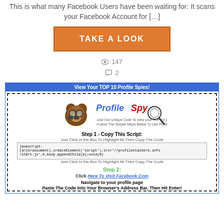This is what many Facebook Users have been waiting for: It scans your Facebook Account for […]
[Figure (other): Orange button with text TAKE A LOOK]
👁 147
💬 2
[Figure (screenshot): Screenshot of ProfileSpy app showing steps to view top 10 profile spies on Facebook. Includes logo with monkey and binoculars, Step 1 with javascript code box, Step 2 with green label and link to Facebook.com, and instructions to navigate and paste code.]